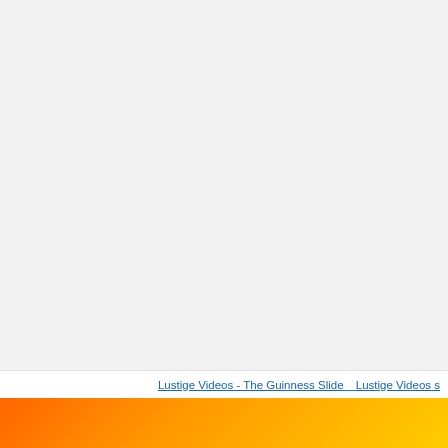[Figure (screenshot): Light gray blank area taking up most of the page, representing empty web page content area]
Lustige Videos - The Guinness Slide    Lustige Videos s
[Figure (illustration): Orange to yellow gradient banner at the bottom of the page]